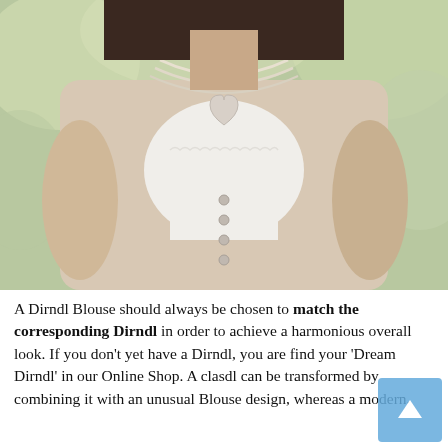[Figure (photo): Close-up photo of a woman wearing a traditional Dirndl blouse in beige/cream with white lace trim and decorative buttons, accessorized with a multi-strand pearl necklace with a heart-shaped pendant. Green bokeh background.]
A Dirndl Blouse should always be chosen to match the corresponding Dirndl in order to achieve a harmonious overall look. If you don't yet have a Dirndl, you are find your 'Dream Dirndl' in our Online Shop. A class dl can be transformed by combining it with an unusual Blouse design, whereas a modern, shorter version is usually